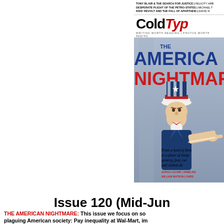[Figure (illustration): ColdType magazine cover showing Uncle Sam figure pointing at viewer, with headline 'THE AMERICAN NIGHTMARE' in blue and red text, subheading 'From a land of dreams to a place of inequality, poverty, fear, race and violent de...' and author credits including Sarah Lazare, Annelise, William Watson, Chris. Cover header lines: TONY BLAIR & THE SEARCH FOR JUSTICE | FELICITY ARB..., DESPERATE PLIGHT OF THE PETRO-STATES | MICHAEL T..., KIDS' REVOLT AND THE FALL OF APARTHEID | DAVID N...]
Issue 120 (Mid-Jun...
THE AMERICAN NIGHTMARE: This issue we focus on so... plaguing American society: Pay inequality at Wal-Mart, im... by school boards, and the continuing executions fiasco. Lazare, William Watson and Annelise Orleck. Other key...